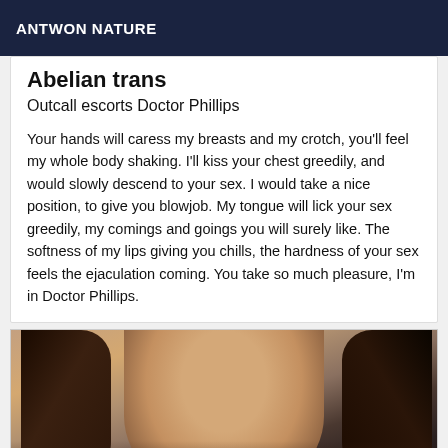ANTWON NATURE
Abelian trans
Outcall escorts Doctor Phillips
Your hands will caress my breasts and my crotch, you'll feel my whole body shaking. I'll kiss your chest greedily, and would slowly descend to your sex. I would take a nice position, to give you blowjob. My tongue will lick your sex greedily, my comings and goings you will surely like. The softness of my lips giving you chills, the hardness of your sex feels the ejaculation coming. You take so much pleasure, I'm in Doctor Phillips.
[Figure (photo): Blurred close-up photo of a woman with dark hair, showing her face and upper body against a dark background.]